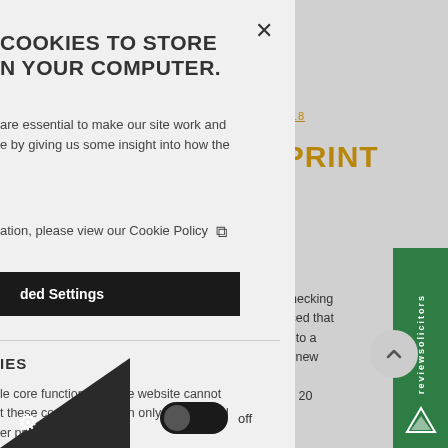[Figure (screenshot): Cookie consent modal overlay on a legal/solicitors website. Left panel shows cookie policy dialog with title, body text, Cookie Policy link, Advanced Settings button, and a toggle switch. Right panel shows partial view of underlying website with gold date '12.02.2018', gold heading 'ERPRINT RS', body text about Identity Checking and a green reviewsolicitors sidebar widget.]
COOKIES TO STORE
N YOUR COMPUTER.
are essential to make our site work and e by giving us some insight into how the
ation, please view our Cookie Policy
ded Settings
IES
le core functionality. The website cannot t these cookies, and can only be disabled er preferences.
12.02.2018
ERPRINT
RS
identity Checking x announced that signed up to a vice. The new in a select h a further 20
off